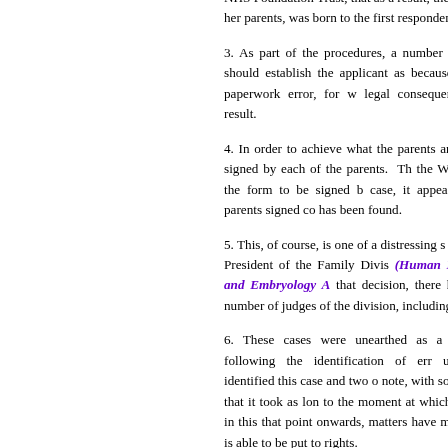NHS Foundation Trust, that as a result, the her parents, was born to the first responden
3. As part of the procedures, a number of intended, should establish the applicant as because of a mere paperwork error, for w legal consequence did not result.
4. In order to achieve what the parents and would be signed by each of the parents. Th the WP form, and the form to be signed b case, it appears that both parents signed co has been found.
5. This, of course, is one of a distressing s heard by the President of the Family Divis (Human Fertilisation and Embryology A that decision, there have been a number of judges of the division, including myself.
6. These cases were unearthed as a resul place following the identification of err unfortunately identified this case and two o note, with some concern, that it took as lon to the moment at which the parents in this that point onwards, matters have moved matter is able to be put to rights.
7. I have a detailed statement from th